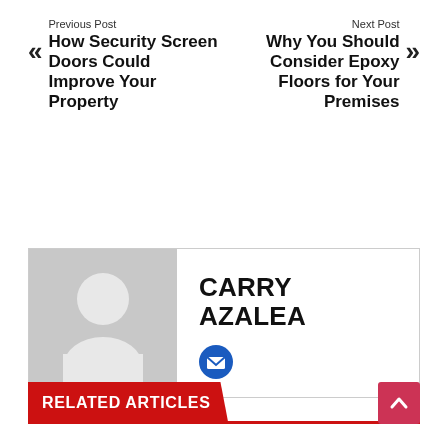Previous Post
How Security Screen Doors Could Improve Your Property
Next Post
Why You Should Consider Epoxy Floors for Your Premises
[Figure (illustration): Author card with grey silhouette avatar placeholder and name CARRY AZALEA with email icon]
CARRY AZALEA
RELATED ARTICLES